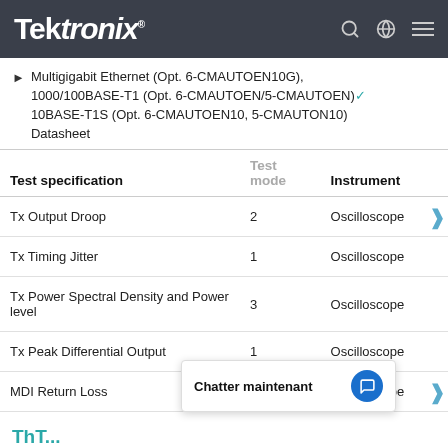Tektronix
Multigigabit Ethernet (Opt. 6-CMAUTOEN10G), 1000/100BASE-T1 (Opt. 6-CMAUTOEN/5-CMAUTOEN), 10BASE-T1S (Opt. 6-CMAUTOEN10, 5-CMAUTON10) Datasheet
| Test specification | Test mode | Instrument |
| --- | --- | --- |
| Tx Output Droop | 2 | Oscilloscope |
| Tx Timing Jitter | 1 | Oscilloscope |
| Tx Power Spectral Density and Power level | 3 | Oscilloscope |
| Tx Peak Differential Output | 1 | Oscilloscope |
| MDI Return Loss | Slave | Oscilloscope |
Chatter maintenant